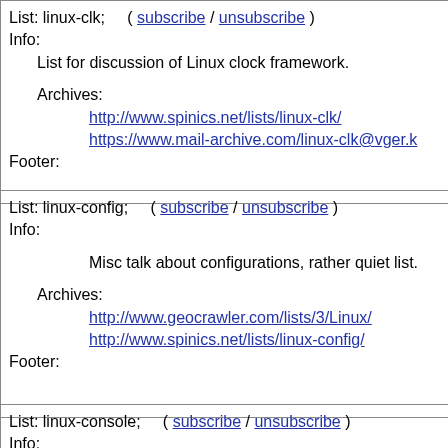List: linux-clk;   ( subscribe / unsubscribe )
Info:
  List for discussion of Linux clock framework.

  Archives:
        http://www.spinics.net/lists/linux-clk/
        https://www.mail-archive.com/linux-clk@vger.k
Footer:
List: linux-config;   ( subscribe / unsubscribe )
Info:
        Misc talk about configurations, rather quiet list.

  Archives:
        http://www.geocrawler.com/lists/3/Linux/
        http://www.spinics.net/lists/linux-config/
Footer:
List: linux-console;   ( subscribe / unsubscribe )
Info: